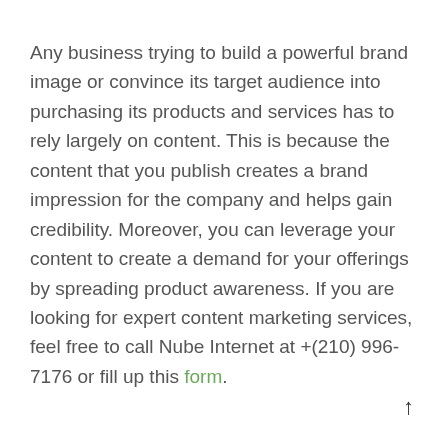Any business trying to build a powerful brand image or convince its target audience into purchasing its products and services has to rely largely on content. This is because the content that you publish creates a brand impression for the company and helps gain credibility. Moreover, you can leverage your content to create a demand for your offerings by spreading product awareness. If you are looking for expert content marketing services, feel free to call Nube Internet at +(210) 996-7176 or fill up this form.